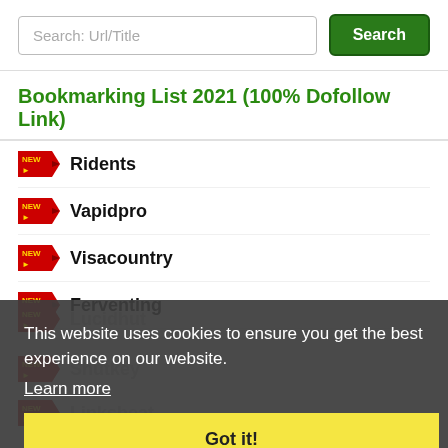Search: Url/Title
Search
Bookmarking List 2021 (100% Dofollow Link)
Ridents
Vapidpro
Visacountry
Ferventing
Lucidhut
Shutkey
Linksbeat
Mbacklinks
This website uses cookies to ensure you get the best experience on our website.
Learn more
Got it!